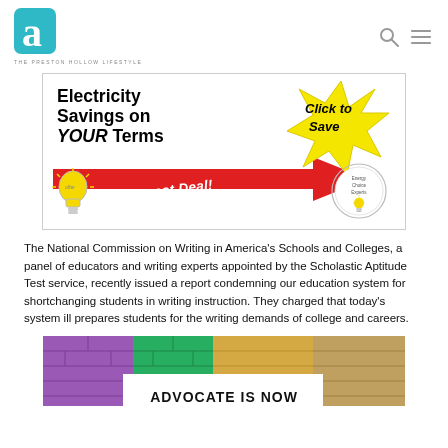THE PRESTON HOLLOW LIFESTYLE
[Figure (illustration): Advertisement banner: Electricity Savings on YOUR Terms. The Honest Deal! Click to Save. Energy Choice Experts. Features a red arrow, yellow starburst, and lightbulb graphic.]
The National Commission on Writing in America's Schools and Colleges, a panel of educators and writing experts appointed by the Scholastic Aptitude Test service, recently issued a report condemning our education system for shortchanging students in writing instruction. They charged that today's system ill prepares students for the writing demands of college and careers.
[Figure (photo): Colorful brick wall (purple, green, yellow/tan) with white overlay at bottom showing partial text 'ADVOCATE IS NOW']